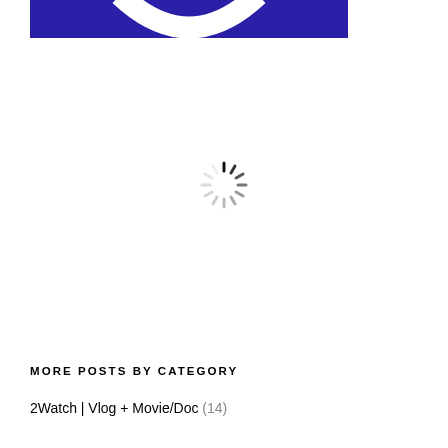[Figure (illustration): Dark navy/indigo banner strip at the top with a white arc/smile shape peeking from the top center, partially cropped]
[Figure (illustration): Loading spinner icon — a circular arrangement of short radial lines in varying shades of gray, indicating a loading state]
MORE POSTS BY CATEGORY
2Watch | Vlog + Movie/Doc (14)